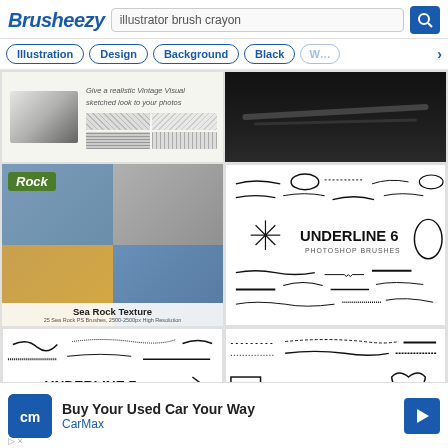Brusheezy — illustrator brush crayon
Illustration
Design
Background
Black
W...
[Figure (photo): Vintage sketch brush preview with texture samples and italic text 'Give a realistic Vintage Visual sketched look to your photos']
[Figure (photo): Dark black brush stroke / chalk texture on dark background]
[Figure (photo): Sea Rock Texture – collage of rock and pebble photos with Rock label and Sea Rock Texture caption]
[Figure (illustration): UNDERLINE 6 PHOTOSHOP BRUSHES – preview of underline and decorative brush strokes]
[Figure (illustration): UNDERLINE 7 PHOTOSHOP BRUSHES – preview of underline and decorative brush strokes]
[Figure (illustration): UNDERLINE 8 PHOTOSHOP BRUSHES – preview of underline, heart and square brush strokes]
Buy Your Used Car Your Way
CarMax